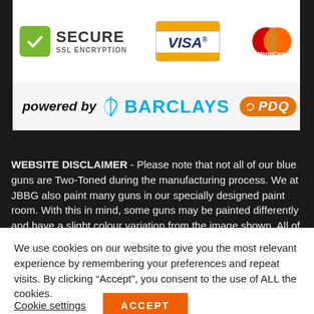[Figure (logo): Secure SSL Encryption badge with green checkmark icon, VISA card logo with gold stripe, MasterCard logo with overlapping red and orange circles, powered by BARCLAYS ePDQ text on white/light background]
WEBSITE DISCLAIMER - Please note that not all of our blue guns are Two-Toned during the manufacturing process. We at JBBG also paint many guns in our specially designed paint room. With this in mind, some guns may be painted differently and have a slight colour variation from the image shown. All of our products
We use cookies on our website to give you the most relevant experience by remembering your preferences and repeat visits. By clicking “Accept”, you consent to the use of ALL the cookies.
Cookie settings
ACCEPT